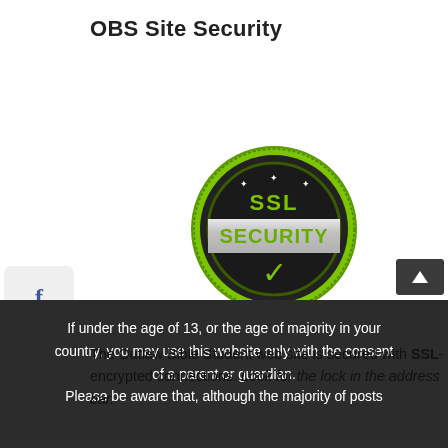OBS Site Security
[Figure (illustration): SSL Security badge: dark circular badge with green border, 'SSL' in green text on top, 'SECURITY' on a silver banner across the middle, and a green checkmark below, with small stars at the top]
The Outlaw Bible Student web site is secured with SSL-encrypted connections. Look for the lock in the address bar.
If under the age of 13, or the age of majority in your country, you may use this website only with the consent of a parent or guardian.
Please be aware that, although the majority of posts